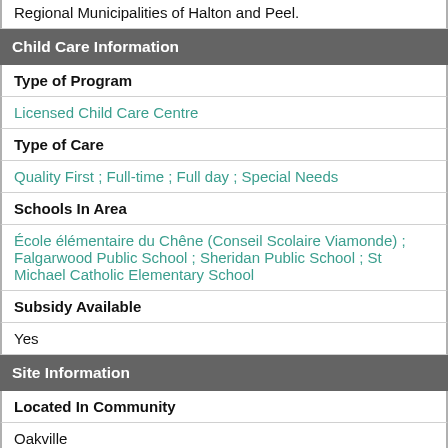Regional Municipalities of Halton and Peel.
Child Care Information
Type of Program
Licensed Child Care Centre
Type of Care
Quality First ; Full-time ; Full day ; Special Needs
Schools In Area
École élémentaire du Chêne (Conseil Scolaire Viamonde) ; Falgarwood Public School ; Sheridan Public School ; St Michael Catholic Elementary School
Subsidy Available
Yes
Site Information
Located In Community
Oakville
Address & Map
Sheridan College
1430 Trafalgar Rd
Oakville, ON L6H 2L1